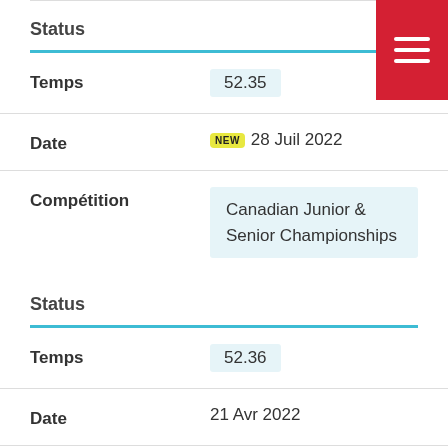Status
Temps: 52.35
Date: NEW 28 Juil 2022
Compétition: Canadian Junior & Senior Championships
Status
Temps: 52.36
Date: 21 Avr 2022
Compétition: Western Canadian Championships